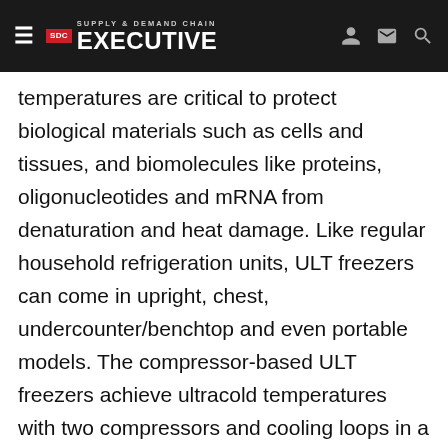Supply & Demand Chain Executive
temperatures are critical to protect biological materials such as cells and tissues, and biomolecules like proteins, oligonucleotides and mRNA from denaturation and heat damage. Like regular household refrigeration units, ULT freezers can come in upright, chest, undercounter/benchtop and even portable models. The compressor-based ULT freezers achieve ultracold temperatures with two compressors and cooling loops in a cascading arrangement continuously cycling between on and off states. These systems are often noisy, produce a lot of heat and may potentially not last long enough to make this a cost-effective purchase. There is an alternative and reliable ULT freezer system that employs simple, free-piston Stirling engine technology to reciprocate a piston and displacer in an